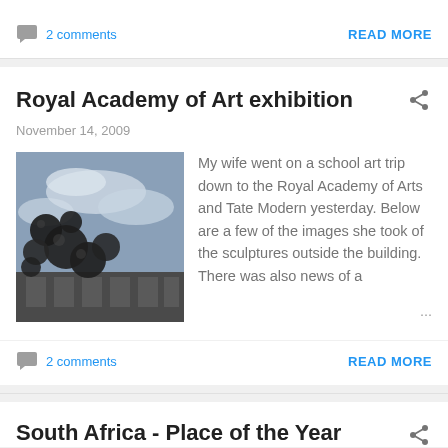2 comments
READ MORE
Royal Academy of Art exhibition
November 14, 2009
[Figure (photo): Dark sculptural spheres against a cloudy sky, with a building facade visible in the background]
My wife went on a school art trip down to the Royal Academy of Arts and Tate Modern yesterday. Below are a few of the images she took of the sculptures outside the building. There was also news of a …
2 comments
READ MORE
South Africa - Place of the Year